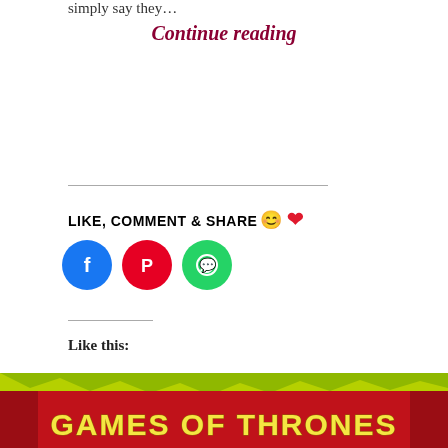simply say they…
Continue reading
LIKE, COMMENT & SHARE 😊 ❤
[Figure (infographic): Three social media share buttons: Facebook (blue circle), Pinterest (red circle), WhatsApp (green circle)]
Like this:
Loading…
[Figure (infographic): Horizontal dashed separator line with three circular icon buttons in the center]
[Figure (illustration): Games of Thrones banner illustration — red banner with yellow text reading GAMES OF THRONES on green background]